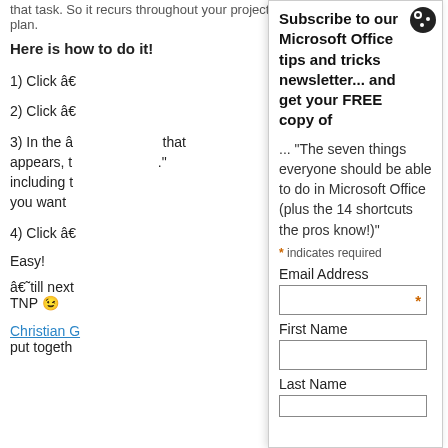that task. So it recurs throughout your project plan.
Here is how to do it!
1) Click â€
2) Click â€
3) In the â that appears, t including t you want
4) Click â€
Easy!
â€˜till next TNP 😉
Christian G put togeth
[Figure (other): Cookie/settings icon in top right]
Subscribe to our Microsoft Office tips and tricks newsletter... and get your FREE copy of
... "The seven things everyone should be able to do in Microsoft Office (plus the 14 shortcuts the pros know!)"
* indicates required
Email Address
First Name
Last Name